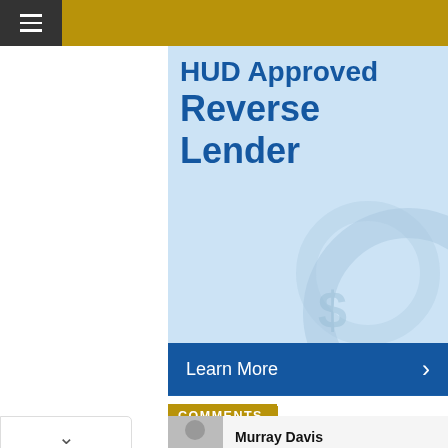HUD Approved Reverse Lender
[Figure (screenshot): Advertisement for HUD Approved Reverse Lender with blue background and Learn More button]
COMMENTS
Marcelo
They're sounding great on this tour. Great article...
Murray Davis
[Figure (screenshot): Walgreens Photo advertisement: Try Something New, Walgreens Photo]